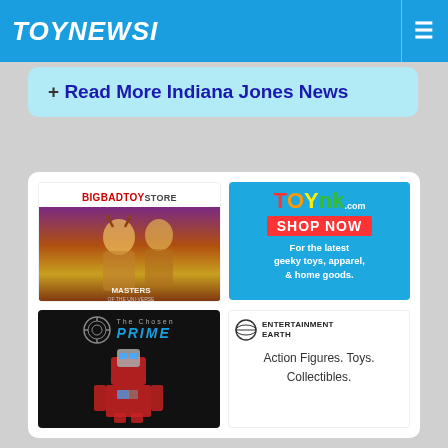TOYNEWSI
+ Read More Indiana Jones News
[Figure (illustration): BigBadToyStore advertisement banner featuring Masters of the Universe artwork]
[Figure (illustration): ToyHK.com advertisement: SHOP NOW - For the latest geeky toys, apparel, & home goods.]
[Figure (illustration): The Chosen Prime advertisement featuring Optimus Prime robot figure]
[Figure (illustration): Entertainment Earth advertisement: Action Figures. Toys. Collectibles.]